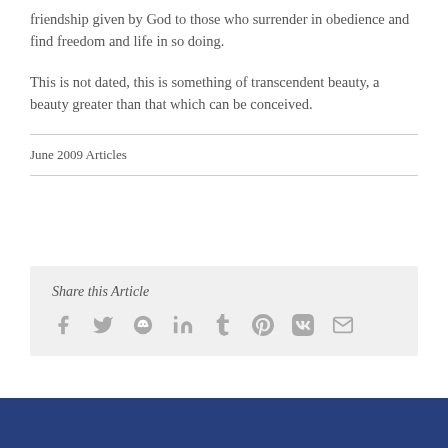friendship given by God to those who surrender in obedience and find freedom and life in so doing.
This is not dated, this is something of transcendent beauty, a beauty greater than that which can be conceived.
June 2009 Articles
Share this Article
[Figure (infographic): Social sharing icons: Facebook, Twitter, Reddit, LinkedIn, Tumblr, Pinterest, VK, Email]